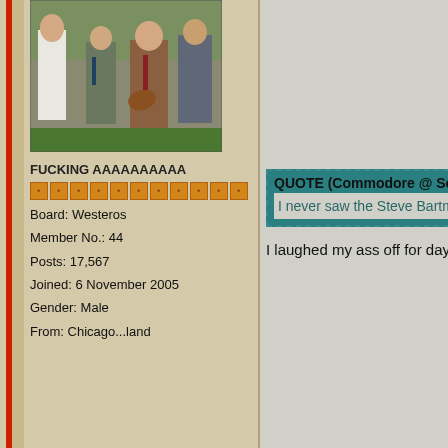[Figure (photo): Photograph of Ronald Reagan in a crowd at a baseball stadium, holding a baseball glove, surrounded by men in suits]
FUCKING AAAAAAAAAA
[Figure (infographic): Row of orange pip/rank icons]
Board: Westeros
Member No.: 44
Posts: 17,567
Joined: 6 November 2005
Gender: Male
From: Chicago...land
QUOTE (Commodore @ Sep 23 2008,
I never saw the Steve Bartman inc
I laughed my ass off for days af